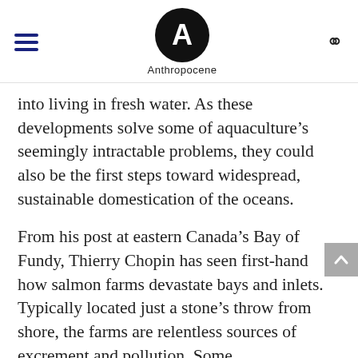Anthropocene
into living in fresh water. As these developments solve some of aquaculture's seemingly intractable problems, they could also be the first steps toward widespread, sustainable domestication of the oceans.
From his post at eastern Canada's Bay of Fundy, Thierry Chopin has seen first-hand how salmon farms devastate bays and inlets. Typically located just a stone's throw from shore, the farms are relentless sources of excrement and pollution. Some